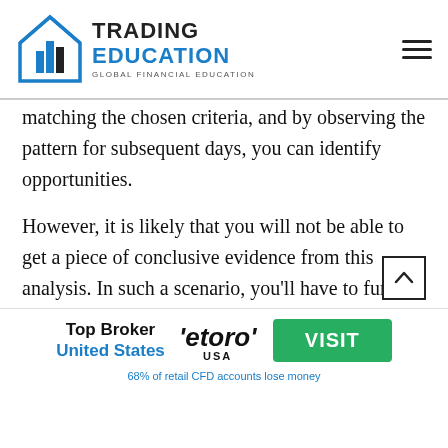Trading Education - Global Financial Education
matching the chosen criteria, and by observing the pattern for subsequent days, you can identify opportunities.
However, it is likely that you will not be able to get a piece of conclusive evidence from this analysis. In such a scenario, you'll have to further check your concept across more data points and stocks. You can run the test of the daily prices across multiple stocks for over five years to find which stocks
Top Broker United States | eToro USA | VISIT | 68% of retail CFD accounts lose money